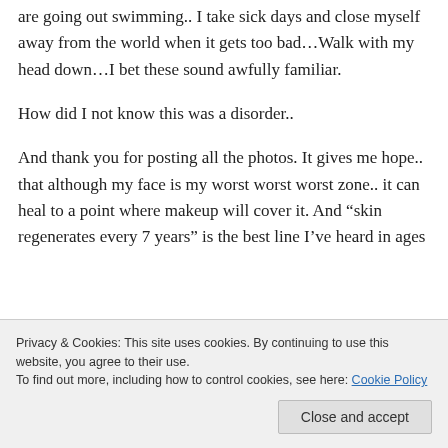are going out swimming.. I take sick days and close myself away from the world when it gets too bad…Walk with my head down…I bet these sound awfully familiar.
How did I not know this was a disorder..
And thank you for posting all the photos. It gives me hope.. that although my face is my worst worst worst zone.. it can heal to a point where makeup will cover it. And “skin regenerates every 7 years” is the best line I’ve heard in ages
Privacy & Cookies: This site uses cookies. By continuing to use this website, you agree to their use. To find out more, including how to control cookies, see here: Cookie Policy
Close and accept